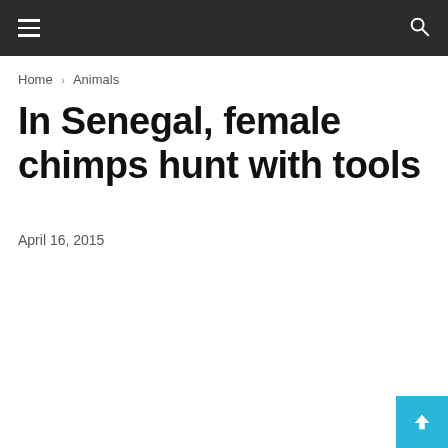≡  🔍
Home › Animals
In Senegal, female chimps hunt with tools
April 16, 2015